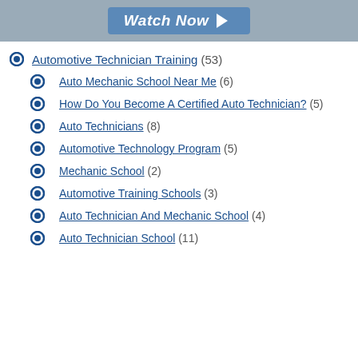[Figure (other): Watch Now banner button with arrow on grey background]
Automotive Technician Training (53)
Auto Mechanic School Near Me (6)
How Do You Become A Certified Auto Technician? (5)
Auto Technicians (8)
Automotive Technology Program (5)
Mechanic School (2)
Automotive Training Schools (3)
Auto Technician And Mechanic School (4)
Auto Technician School (11)